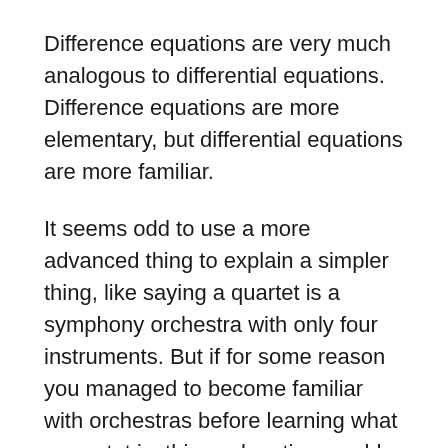Difference equations are very much analogous to differential equations. Difference equations are more elementary, but differential equations are more familiar.
It seems odd to use a more advanced thing to explain a simpler thing, like saying a quartet is a symphony orchestra with only four instruments. But if for some reason you managed to become familiar with orchestras before learning what a quartet is, this explanation would be helpful.
Differential equations are a standard part of the curriculum for science and engineering students, but difference equations are not. And not without reason: differential equations are a prerequisite